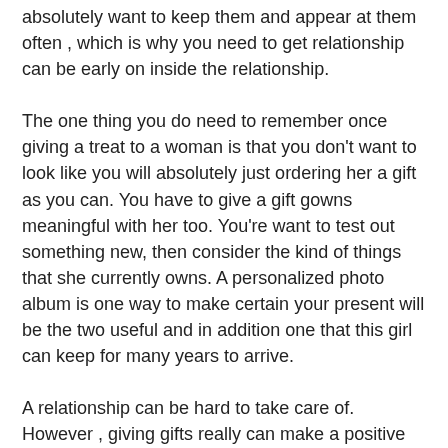absolutely want to keep them and appear at them often , which is why you need to get relationship can be early on inside the relationship.
The one thing you do need to remember once giving a treat to a woman is that you don't want to look like you will absolutely just ordering her a gift as you can. You have to give a gift gowns meaningful with her too. You're want to test out something new, then consider the kind of things that she currently owns. A personalized photo album is one way to make certain your present will be the two useful and in addition one that this girl can keep for many years to arrive.
A relationship can be hard to take care of. However , giving gifts really can make a positive change in just how well things are going. If you wish to amaze your partner with a awesome present, in that case consider the relationship is. You won't have to worry about your gifs running in to the trash just before your partner does indeed! Try a handful of